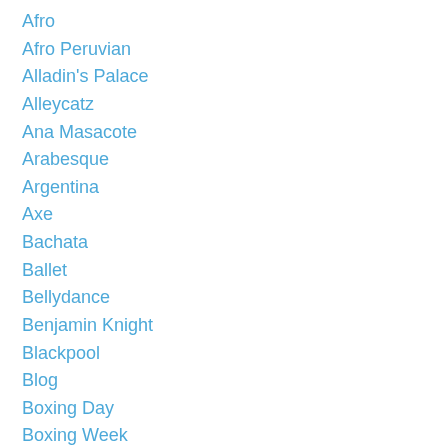Afro
Afro Peruvian
Alladin's Palace
Alleycatz
Ana Masacote
Arabesque
Argentina
Axe
Bachata
Ballet
Bellydance
Benjamin Knight
Blackpool
Blog
Boxing Day
Boxing Week
Brazil
Brazil Dance World
Brazilian
Brazilian Samba
Canadian Winter